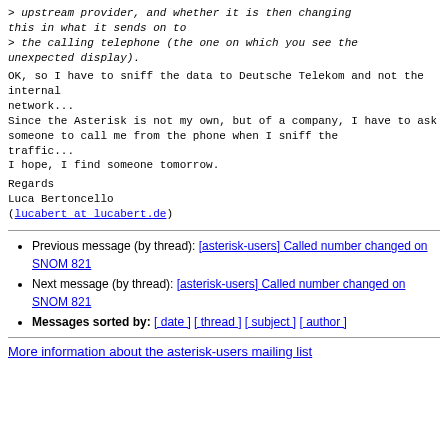> upstream provider, and whether it is then changing this in what it sends on to
> the calling telephone (the one on which you see the unexpected display).
OK, so I have to sniff the data to Deutsche Telekom and not the internal
network...
Since the Asterisk is not my own, but of a company, I have to ask
someone to call me from the phone when I sniff the traffic...
I hope, I find someone tomorrow.
Regards
Luca Bertoncello
(lucabert at lucabert.de)
Previous message (by thread): [asterisk-users] Called number changed on SNOM 821
Next message (by thread): [asterisk-users] Called number changed on SNOM 821
Messages sorted by: [ date ] [ thread ] [ subject ] [ author ]
More information about the asterisk-users mailing list